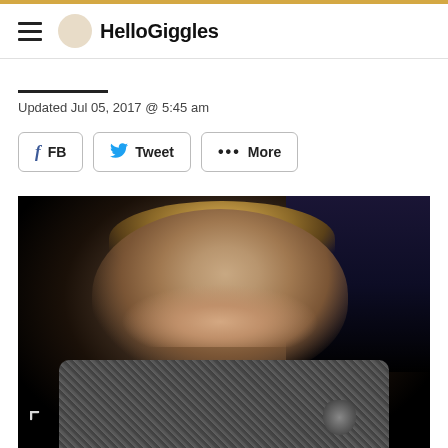HelloGiggles
Updated Jul 05, 2017 @ 5:45 am
FB  Tweet  ••• More
[Figure (photo): A woman with blonde hair smiling broadly, wearing a patterned jacket, photographed at an event against a dark background with stage lighting. A microphone is visible at lower right.]